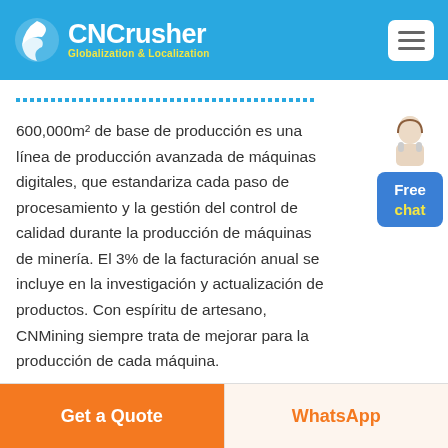CNCrusher Globalization & Localization
600,000m² de base de producción es una línea de producción avanzada de máquinas digitales, que estandariza cada paso de procesamiento y la gestión del control de calidad durante la producción de máquinas de minería. El 3% de la facturación anual se incluye en la investigación y actualización de productos. Con espíritu de artesano, CNMining siempre trata de mejorar para la producción de cada máquina.
Get a Quote
WhatsApp